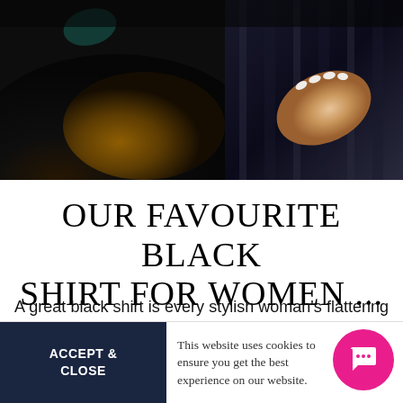[Figure (photo): A woman's hand with white manicured nails resting on a dark leather surface, with striped fabric visible, dark background suggesting a car interior or fashion context.]
OUR FAVOURITE BLACK SHIRT FOR WOMEN ...
A great black shirt is every stylish woman's flattering secret weapon. It gives off rock n roll vibes with a leather jacket, brings precision to any outfit and just generally looks smart and modern on its own. You are never underdressed in a black dress shirt. And that's why it's important to find the very best black
ACCEPT & CLOSE
This website uses cookies to ensure you get the best experience on our website.